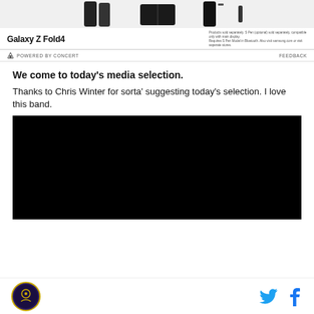[Figure (photo): Samsung Galaxy Z Fold4 advertisement banner with phone images at top, showing product name and small text, with 'POWERED BY CONCERT' and 'FEEDBACK' bar below]
We come to today's media selection.
Thanks to Chris Winter for sorta' suggesting today's selection. I love this band.
[Figure (screenshot): Embedded black video player]
Site logo, Twitter and Facebook share icons